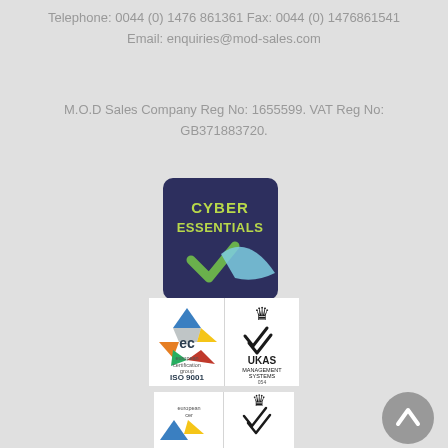Telephone: 0044 (0) 1476 861361 Fax: 0044 (0) 1476861541
Email: enquiries@mod-sales.com
M.O.D Sales Company Reg No: 1655599. VAT Reg No: GB371883720.
[Figure (logo): Cyber Essentials certification badge with dark blue background, text CYBER ESSENTIALS and a checkmark in green and blue]
[Figure (logo): European Certification Group ISO 9001 Registered Firm badge with UKAS Management Systems logo]
[Figure (logo): Partial view of another European Certification badge at bottom of page]